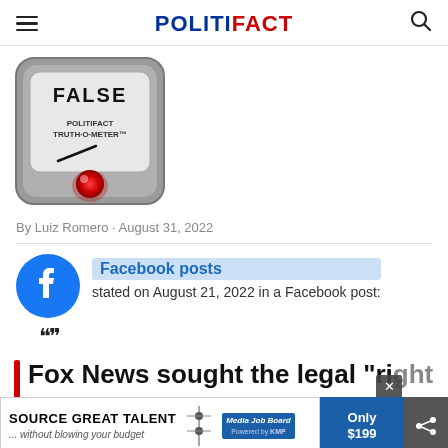POLITIFACT
[Figure (illustration): PolitiFact Truth-O-Meter gauge showing FALSE rating with red indicator light and needle pointing left]
By Luiz Romero · August 31, 2022
[Figure (logo): Facebook logo (blue circle with white 'f')]
Facebook posts stated on August 21, 2022 in a Facebook post:
Fox News sought the legal "right to
[Figure (infographic): Advertisement banner: SOURCE GREAT TALENT ...without blowing your budget | Media Job Board | Only $199, with close (x) button and share button overlay]